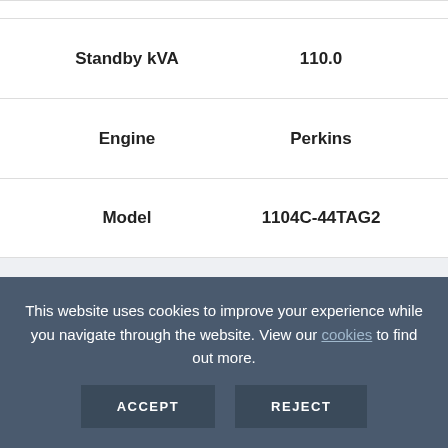| Standby kVA | 110.0 |
| Engine | Perkins |
| Model | 1104C-44TAG2 |
AJ50
This website uses cookies to improve your experience while you navigate through the website. View our cookies to find out more.